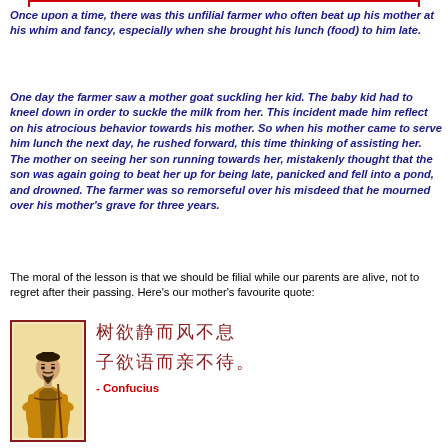Once upon a time, there was this unfilial farmer who often beat up his mother at his whim and fancy, especially when she brought his lunch (food) to him late.
One day the farmer saw a mother goat suckling her kid. The baby kid had to kneel down in order to suckle the milk from her. This incident made him reflect on his atrocious behavior towards his mother. So when his mother came to serve him lunch the next day, he rushed forward, this time thinking of assisting her. The mother on seeing her son running towards her, mistakenly thought that the son was again going to beat her up for being late, panicked and fell into a pond, and drowned. The farmer was so remorseful over his misdeed that he mourned over his mother's grave for three years.
The moral of the lesson is that we should be filial while our parents are alive, not to regret after their passing. Here's our mother's favourite quote:
[Figure (illustration): Portrait of Confucius in traditional robes holding a staff, painted style with warm yellow-brown background inside a dark red border frame]
樹欲靜而風不息。
子欲養而親不待。
- Confucius